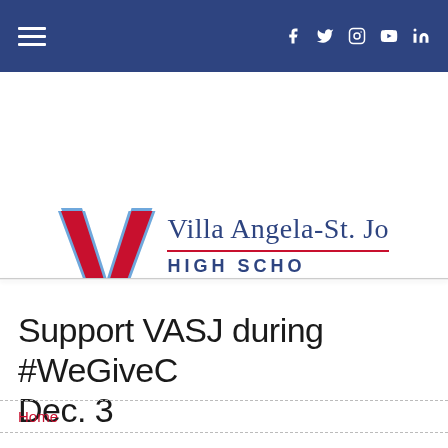Navigation bar with hamburger menu and social icons: f (Facebook), Twitter, Instagram, YouTube, LinkedIn
[Figure (logo): Villa Angela-St. Joseph High School logo: large red V with blue outline, school name in blue serif font, red underline, HIGH SCHOOL in blue sans-serif, tagline Faith. Family. Fu... in red italic]
Support VASJ during #WeGiveC Dec. 3
Home